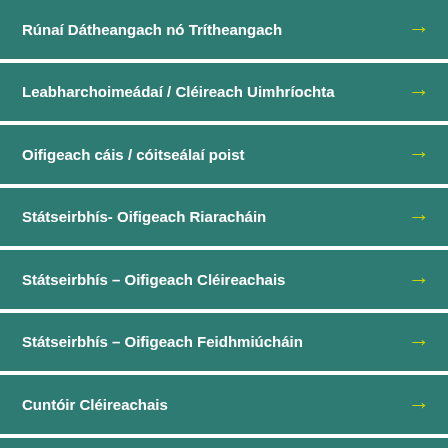Rúnaí Dátheangach nó Trítheangach
Leabharchoimeádaí / Cléireach Uimhríochta
Oifigeach cáis / cóitseálaí poist
Státseirbhís- Oifigeach Riaracháin
Státseirbhís – Oifigeach Cléireachais
Státseirbhís – Oifigeach Feidhmiúcháin
Cuntóir Cléireachais